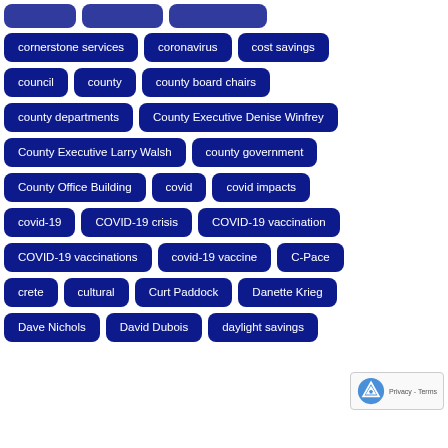cornerstone services
coronavirus
cost savings
council
county
county board chairs
county departments
County Executive Denise Winfrey
County Executive Larry Walsh
county government
County Office Building
covid
covid impacts
covid-19
COVID-19 crisis
COVID-19 vaccination
COVID-19 vaccinations
covid-19 vaccine
C-Pace
crete
cultural
Curt Paddock
Danette Krieg
Dave Nichols
David Dubois
daylight savings